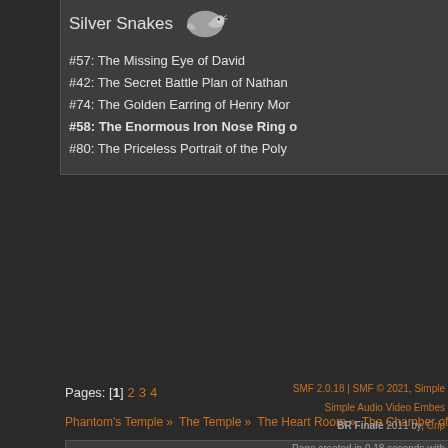Silver Snakes
#57: The Missing Eye of David
#42: The Secret Battle Plan of Nathan
#74: The Golden Earring of Henry Mo...
#58: The Enormous Iron Nose Ring (current - bold)
#80: The Priceless Portrait of the Polym...
Pages: [1] 2 3 4
Phantom's Temple » The Temple » The Heart Room » The Chamber of the Sacred M...
SMF 2.0.18 | SMF © 2021, Simple... | Simple Audio Video Embe... | BR Finale 2011 by, Crip... | Page created in 0.18 seconds with...